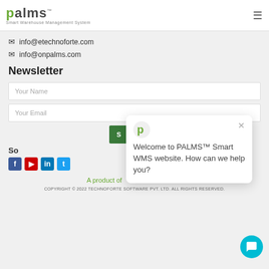palms™ Smart Warehouse Management System
info@etechnoforte.com
info@onpalms.com
Newsletter
Your Name
Your Email
S (Submit button)
So (Social)
[Figure (other): Social media icons: Facebook, YouTube, LinkedIn, Twitter]
[Figure (other): Chat popup: PALMS logo, close button, message 'Welcome to PALMS™ Smart WMS website. How can we help you?']
A product of technoforte
COPYRIGHT © 2022 TECHNOFORTE SOFTWARE PVT. LTD. ALL RIGHTS RESERVED.